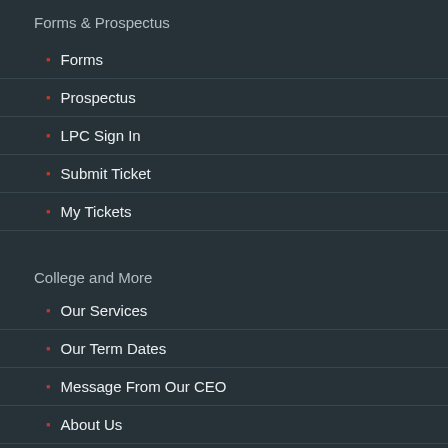Forms & Prospectus
Forms
Prospectus
LPC Sign In
Submit Ticket
My Tickets
College and More
Our Services
Our Term Dates
Message From Our CEO
About Us